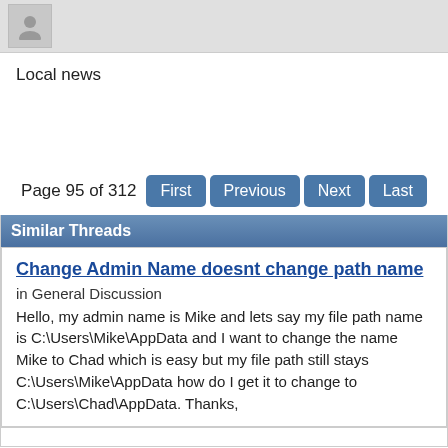[Figure (other): Top bar with grey avatar/user icon placeholder]
Local news
Page 95 of 312  First  Previous  Next  Last
Similar Threads
Change Admin Name doesnt change path name
in General Discussion
Hello, my admin name is Mike and lets say my file path name is C:\Users\Mike\AppData and I want to change the name Mike to Chad which is easy but my file path still stays C:\Users\Mike\AppData how do I get it to change to C:\Users\Chad\AppData. Thanks,